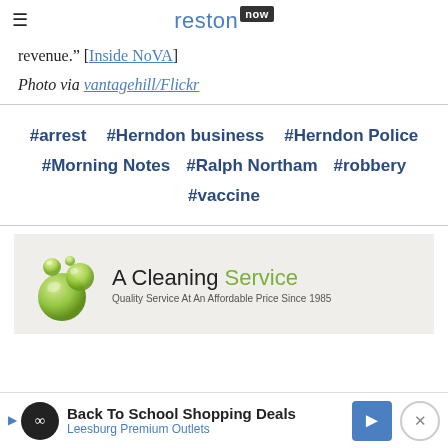reston now
revenue." [Inside NoVA]
Photo via vantagehill/Flickr
#arrest   #Herndon business   #Herndon Police   #Morning Notes   #Ralph Northam   #robbery   #vaccine
[Figure (logo): A Cleaning Service advertisement with green bubble logo. Text reads: A Cleaning Service. Quality Service At An Affordable Price Since 1985.]
[Figure (infographic): Bottom ad bar: Back To School Shopping Deals, Leesburg Premium Outlets, with infinity logo and navigation arrow icon.]